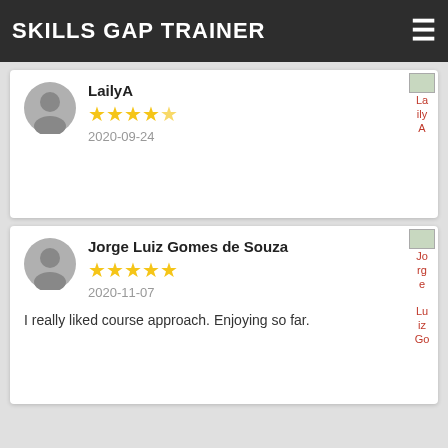SKILLS GAP TRAINER
LailyA
★★★★½
2020-09-24
Jorge Luiz Gomes de Souza
★★★★★
2020-11-07
I really liked course approach. Enjoying so far.